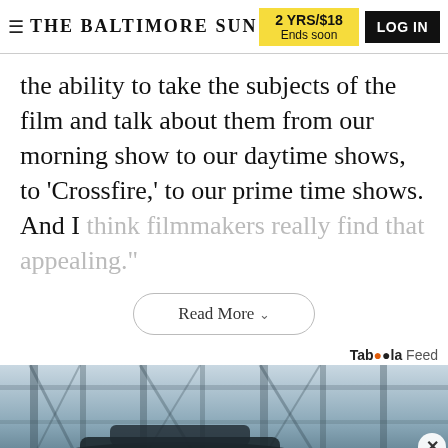THE BALTIMORE SUN | 2 YRS/$18 Ends soon | LOG IN
the ability to take the subjects of the film and talk about them from our morning show to our daytime shows, to 'Crossfire,' to our prime time shows. And I think filmmakers really find that appealing."
Read More
Taboola Feed
[Figure (photo): Industrial/steel structure background with a dark car in foreground, blue-gray tones]
ADVERTISEMENT
[Figure (other): Advertise 1-2-3 Tribune Publishing advertisement banner]